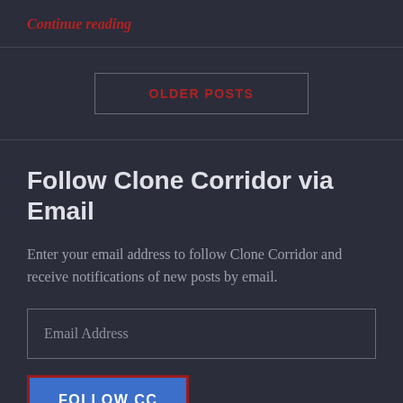Continue reading
OLDER POSTS
Follow Clone Corridor via Email
Enter your email address to follow Clone Corridor and receive notifications of new posts by email.
Email Address
FOLLOW CC